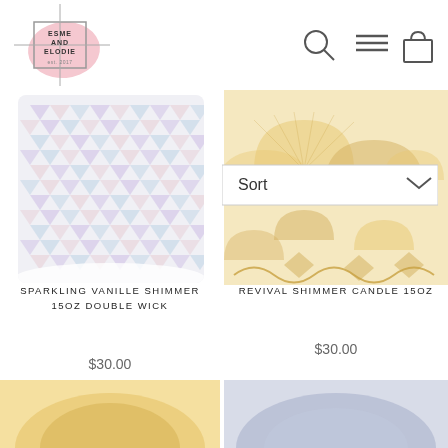[Figure (logo): Esme and Elodie brand logo with pink blob shape and cross lines, bordered square text]
[Figure (screenshot): Navigation icons: search magnifier, hamburger menu, shopping bag]
[Figure (screenshot): Sort dropdown UI element with chevron]
[Figure (photo): Sparkling Vanille Shimmer 15oz Double Wick candle product photo - iridescent geometric pattern glass jar]
SPARKLING VANILLE SHIMMER 15OZ DOUBLE WICK
$30.00
[Figure (photo): Revival Shimmer Candle 15oz product photo - golden amber glass jar with fan and geometric pattern]
REVIVAL SHIMMER CANDLE 15OZ
$30.00
[Figure (photo): Bottom partial product image left - yellow/gold candle jar]
[Figure (photo): Bottom partial product image right - blue/purple candle jar]